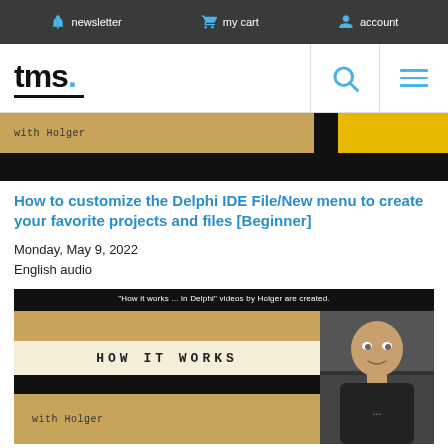newsletter  my cart  account
[Figure (logo): tms. logo with blue dot and black underline]
[Figure (screenshot): Partial video thumbnail showing 'with Holger' text on tan background, with black section below and yellow patch top-right]
How to customize the Delphi IDE File/New menu to create your favorite projects and files [Beginner]
Monday, May 9, 2022
English audio
[Figure (screenshot): Video thumbnail for 'How it works ... in Delphi' videos by Holger. Shows HOW IT WORKS text on torn paper effect with tan background, and a man (Holger) visible on the right side.]